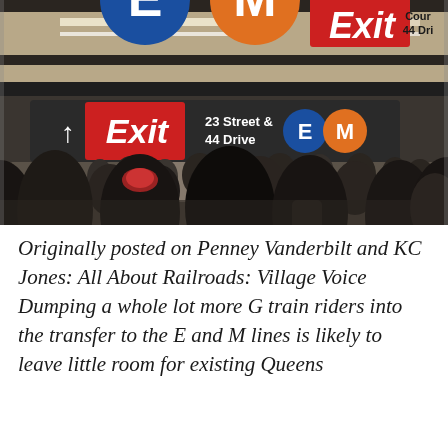[Figure (photo): Crowded New York City subway station showing E and M train signs, Exit sign for 23 Street & 44 Drive, with many commuters walking through the station.]
Originally posted on Penney Vanderbilt and KC Jones: All About Railroads: Village Voice Dumping a whole lot more G train riders into the transfer to the E and M lines is likely to leave little room for existing Queens